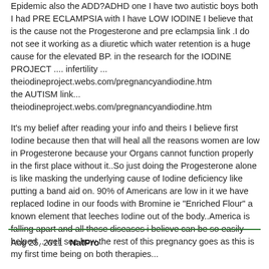Epidemic also the ADD?ADHD one I have two autistic boys both I had PRE ECLAMPSIA with I have LOW IODINE I believe that is the cause not the Progesterone and pre eclampsia link .I do not see it working as a diuretic which water retention is a huge cause for the elevated BP. in the research for the IODINE PROJECT .... infertility ... theiodineproject.webs.com/pregnancyandiodine.htm the AUTISM link... theiodineproject.webs.com/pregnancyandiodine.htm
It's my belief after reading your info and theirs I believe first Iodine because then that will heal all the reasons women are low in Progesterone because your Organs cannot function properly in the first place without it..So just doing the Progesterone alone is like masking the underlying cause of Iodine deficiency like putting a band aid on. 90% of Americans are low in it we have replaced Iodine in our foods with Bromine ie "Enriched Flour" a known element that leeches Iodine out of the body..America is falling apart and all these diseases i believe can be so easily helped ...well see how the rest of this pregnancy goes as this is my first time being on both therapies...
Aug 25, 2011  NatPro